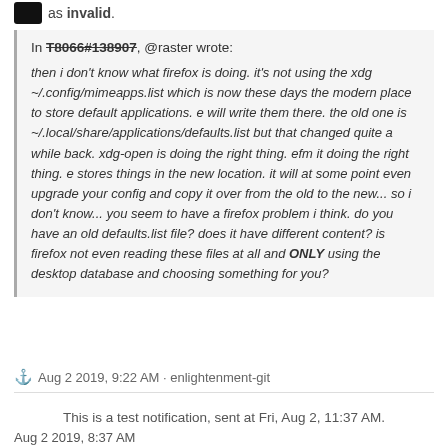as invalid.
In T8066#138907, @raster wrote: then i don't know what firefox is doing. it's not using the xdg ~/.config/mimeapps.list which is now these days the modern place to store default applications. e will write them there. the old one is ~/.local/share/applications/defaults.list but that changed quite a while back. xdg-open is doing the right thing. efm it doing the right thing. e stores things in the new location. it will at some point even upgrade your config and copy it over from the old to the new... so i don't know... you seem to have a firefox problem i think. do you have an old defaults.list file? does it have different content? is firefox not even reading these files at all and ONLY using the desktop database and choosing something for you?
Aug 2 2019, 9:22 AM · enlightenment-git
This is a test notification, sent at Fri, Aug 2, 11:37 AM.
Aug 2 2019, 8:37 AM